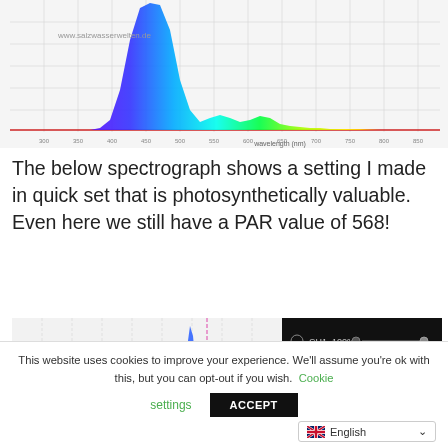[Figure (continuous-plot): Spectrograph chart showing light spectrum with colorful peaks (violet/blue/cyan/green/yellow) on a white gridded background. Website watermark: www.salzwasserwelten.de. X-axis labeled 'wavelength (nm)'.]
The below spectrograph shows a setting I made in quick set that is photosynthetically valuable. Even here we still have a PAR value of 568!
[Figure (screenshot): Spectrograph screenshot showing Orphek Atlantik V3+ Natural SPS Growing Ocean Optics Flame Messabstand 40 cm PAR 564 400-700 nm. Blue spectral peak visible. Right panel shows channel settings: CH1 100%, CH2 15%, CH3 31%, CH4 100%.]
This website uses cookies to improve your experience. We'll assume you're ok with this, but you can opt-out if you wish. Cookie settings ACCEPT